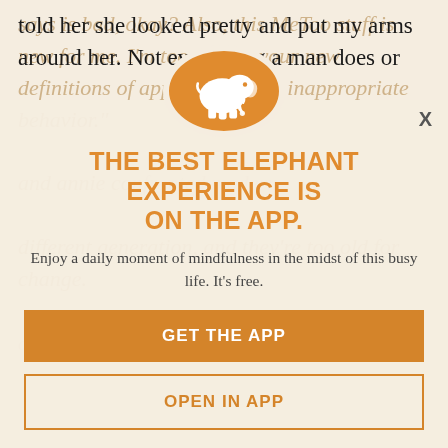told her she looked pretty and put my arms around her. Not everything a man does or
[Figure (infographic): Modal overlay popup for Elephant journal app. Orange circle with white elephant icon at top center. Close button (X) at top right.]
THE BEST ELEPHANT EXPERIENCE IS ON THE APP.
Enjoy a daily moment of mindfulness in the midst of this busy life. It's free.
GET THE APP
OPEN IN APP